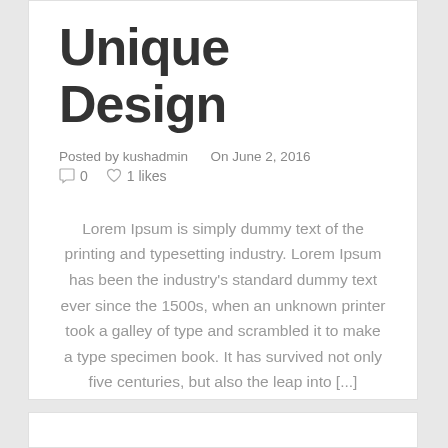Unique Design
Posted by kushadmin    On June 2, 2016
💬 0   ♡ 1 likes
Lorem Ipsum is simply dummy text of the printing and typesetting industry. Lorem Ipsum has been the industry's standard dummy text ever since the 1500s, when an unknown printer took a galley of type and scrambled it to make a type specimen book. It has survived not only five centuries, but also the leap into [...]